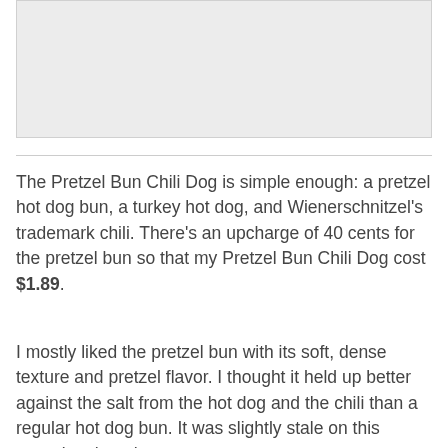[Figure (photo): A photograph placeholder showing a light gray rectangle representing an image of a Pretzel Bun Chili Dog.]
The Pretzel Bun Chili Dog is simple enough: a pretzel hot dog bun, a turkey hot dog, and Wienerschnitzel's trademark chili. There's an upcharge of 40 cents for the pretzel bun so that my Pretzel Bun Chili Dog cost $1.89.
I mostly liked the pretzel bun with its soft, dense texture and pretzel flavor. I thought it held up better against the salt from the hot dog and the chili than a regular hot dog bun. It was slightly stale on this occasion though.